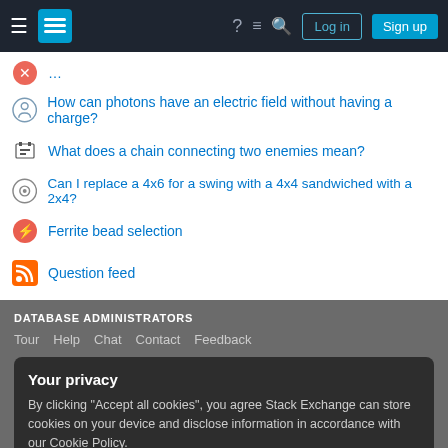Stack Exchange navigation bar with Log in and Sign up buttons
How can photons have an electric field without having a charge?
What does a chain connecting two enemies mean?
Can I replace a 4x6 for a swing with a 4x4 sandwiched with a 2x4?
Ferrite bead selection
Question feed
DATABASE ADMINISTRATORS
Tour  Help  Chat  Contact  Feedback
Your privacy
By clicking "Accept all cookies", you agree Stack Exchange can store cookies on your device and disclose information in accordance with our Cookie Policy.
Accept all cookies   Customize settings
Business  API  Data